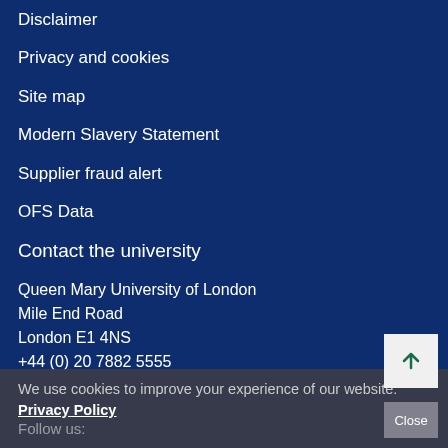Disclaimer
Privacy and cookies
Site map
Modern Slavery Statement
Supplier fraud alert
OFS Data
Contact the university
Queen Mary University of London
Mile End Road
London E1 4NS
+44 (0) 20 7882 5555
Follow us:
We use cookies to improve your experience of our website: Privacy Policy